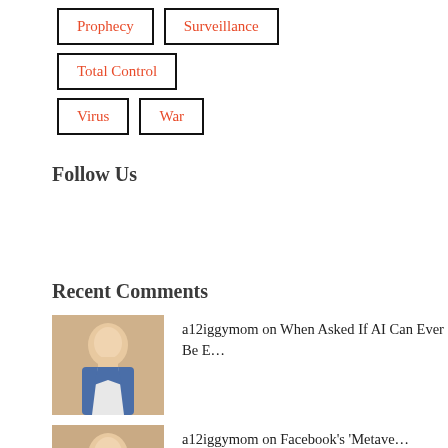Prophecy
Surveillance
Total Control
Virus
War
Follow Us
Recent Comments
a12iggymom on When Asked If AI Can Ever Be E…
a12iggymom on Facebook's 'Metave…
When Asked If AI Can… on Robot Tells Interviewer…
When Asked If AI Can… on Rise Of The